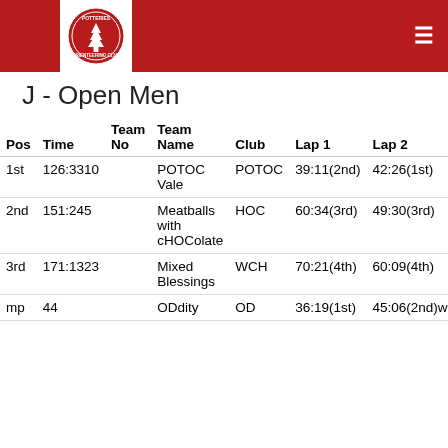[Figure (logo): Potteries Orienteering Club logo - red circular badge with tree motifs]
J - Open Men
| Pos | Time | Team No | Team Name | Club | Lap 1 | Lap 2 | Lap 3 |  |
| --- | --- | --- | --- | --- | --- | --- | --- | --- |
| 1st | 126:3310 |  | POTOC Vale | POTOC | 39:11(2nd) | 42:26(1st) | 44:56(3rd) |  |
| 2nd | 151:245 |  | Meatballs with cHOColate | HOC | 60:34(3rd) | 49:30(3rd) | 41:20(2nd) |  |
| 3rd | 171:1323 |  | Mixed Blessings | WCH | 70:21(4th) | 60:09(4th) | 40:43(1st) |  |
| mp | 44 |  | ODdity | OD | 36:19(1st) | 45:06(2nd)w6 |  |  |